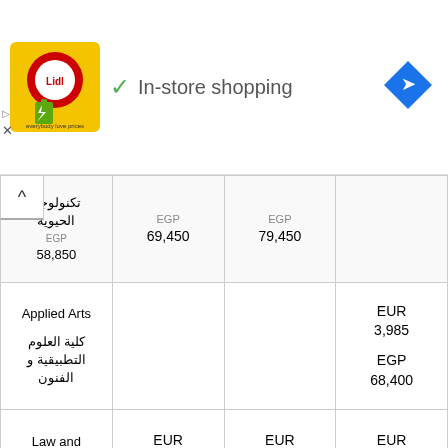[Figure (screenshot): Ad banner for Lidl with logo showing 'In-store shopping' text with a green checkmark, and a blue navigation arrow icon on the right]
| Faculty | Col1 | Col2 | Col3 |
| --- | --- | --- | --- |
| تكنولوجيا الحيوية (Bio Technology) | EGP 58,850 | EGP 69,450 | EGP 79,450 |
| Applied Arts / كلية العلوم التطبيقية و الفنون |  |  |  | EUR 3,985 / EGP 68,400 |
| Law and Legal Studies / كلية الحقوق و الدراسات | EUR 3,715 / EGP 55,000 | EUR 4,375 / EGP 64,900 | EUR 5,050 / EGP 74,250 |  |